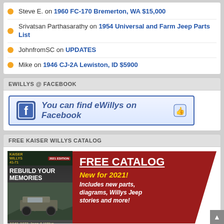Steve E. on 1960 FC-170 Bremerton, WA $15,000
Srivatsan Parthasarathy on 1954 Universal and Farm Jeep Parts List
JohnfromSC on UPDATES
Mike on 1946 CJ-2A Lewiston, ID $5900
EWILLYS @ FACEBOOK
[Figure (other): Facebook banner: You can find eWillys on Facebook with thumbs up icon]
FREE KAISER WILLYS CATALOG
[Figure (other): Kaiser Willys catalog advertisement: FREE CATALOG - New for 2021! Includes new parts, diagrams, Willys Jeep stories and more! Left side shows catalog cover with Rebuild Your Memories and jeep image, 1941-1971 Jeep & Willys]
SUNTEC WINDSHIELD REPLACEMENT OF GILBERT, AZ
[Figure (other): Suntec windshield replacement advertisement banner (partially visible)]